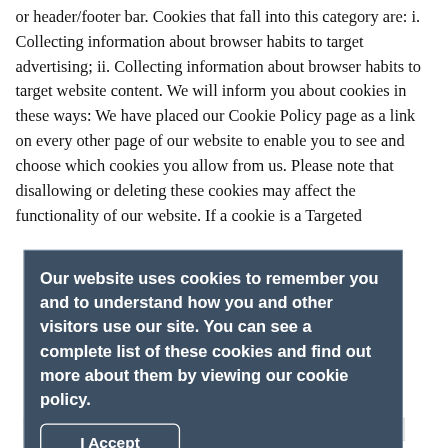or header/footer bar. Cookies that fall into this category are: i. Collecting information about browser habits to target advertising; ii. Collecting information about browser habits to target website content. We will inform you about cookies in these ways: We have placed our Cookie Policy page as a link on every other page of our website to enable you to see and choose which cookies you allow from us. Please note that disallowing or deleting these cookies may affect the functionality of our website. If a cookie is a Targeted
[Figure (screenshot): Cookie consent overlay banner with dark blue-grey background. Text reads: 'Our website uses cookies to remember you and to understand how you and other visitors use our site. You can see a complete list of these cookies and find out more about them by viewing our cookie policy.' Below is an 'I Accept' button with a white border.]